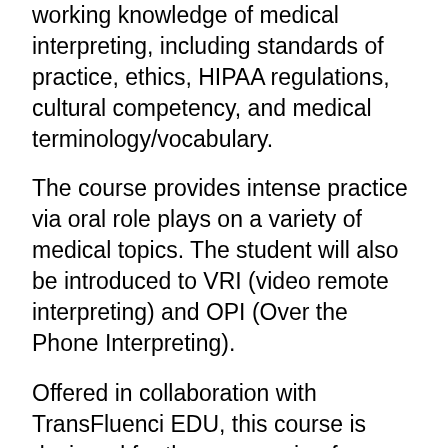working knowledge of medical interpreting, including standards of practice, ethics, HIPAA regulations, cultural competency, and medical terminology/vocabulary.
The course provides intense practice via oral role plays on a variety of medical topics. The student will also be introduced to VRI (video remote interpreting) and OPI (Over the Phone Interpreting).
Offered in collaboration with TransFluenci EDU, this course is designed for those preparing for entry-level careers as medical interpreters as well as for working interpreters preparing for the National Board Certificate exam.
Students must be fully bilingual and must be fluent in English and one other language.
You will hear from the language assessment coordinator prior to the start of class for an assessment in the language you designated when registering. To continue, you must pass the assessment.